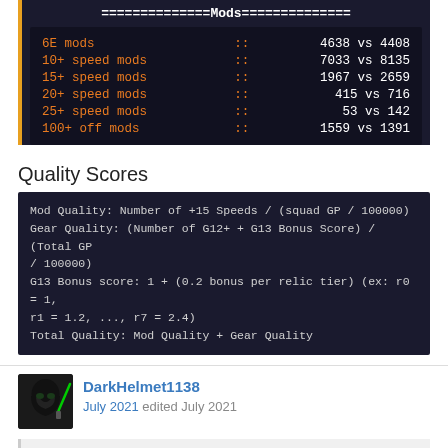[Figure (screenshot): Dark-themed terminal/code block showing Mods statistics header with equals signs, listing mod categories (6E mods, 10+ speed mods, 15+ speed mods, 20+ speed mods, 25+ speed mods, 100+ off mods) with versus counts in orange monospace font on dark background.]
Quality Scores
[Figure (screenshot): Dark-themed code/terminal block showing Quality Score formulas: Mod Quality, Gear Quality, G13 Bonus score, and Total Quality definitions in monospace white/grey text on dark background.]
DarkHelmet1138
July 2021 edited July 2021
CG_SBCrumb_MINI wrote: »